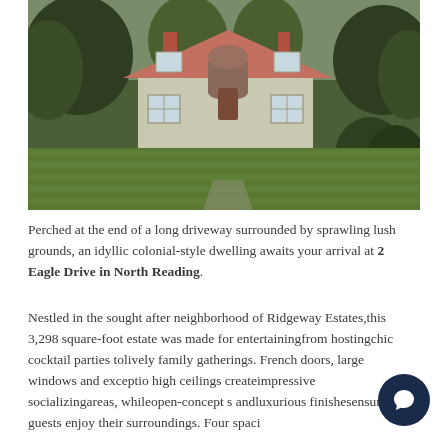[Figure (photo): Exterior photo of a two-story colonial-style home with a red/salmon roof, light beige siding, large lawn in the foreground, and surrounded by trees.]
Perched at the end of a long driveway surrounded by sprawling lush grounds, an idyllic colonial-style dwelling awaits your arrival at 2 Eagle Drive in North Reading.
Nestled in the sought after neighborhood of Ridgeway Estates,this 3,298 square-foot estate was made for entertainingfrom hostingchic cocktail parties tolively family gatherings. French doors, large windows and exceptio… high ceilings createimpressive socializingareas, whileopen-concept s… andluxurious finishesensure guests enjoy their surroundings. Four spaci…